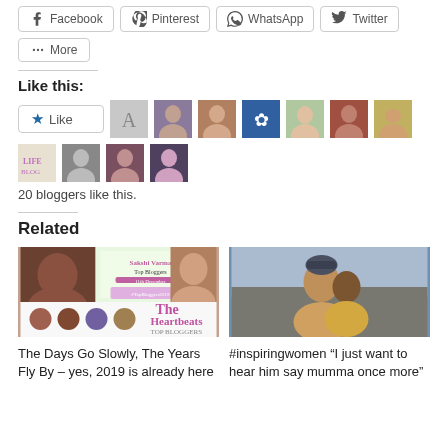[Figure (other): Social share buttons: Facebook, Pinterest, WhatsApp, Twitter]
[Figure (other): More share button]
Like this:
[Figure (other): Like button and 20 blogger avatars]
20 bloggers like this.
Related
[Figure (photo): Thumbnail for 'The Days Go Slowly, The Years Fly By – yes, 2019 is already here']
The Days Go Slowly, The Years Fly By – yes, 2019 is already here
[Figure (photo): Thumbnail for '#inspiringwomen "I just want to hear him say mumma once more"']
#inspiringwomen “I just want to hear him say mumma once more”